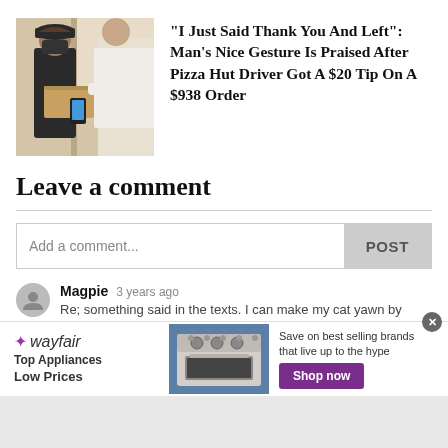[Figure (photo): Photo of a pizza delivery driver handing a box to a customer at the door, both wearing masks]
"I Just Said Thank You And Left": Man's Nice Gesture Is Praised After Pizza Hut Driver Got A $20 Tip On A $938 Order
Leave a comment
Add a comment...
POST
Magpie  3 years ago
Re; something said in the texts. I can make my cat yawn by
[Figure (other): Wayfair advertisement banner: Top Appliances Low Prices, Save on best selling brands that live up to the hype, Shop now button]